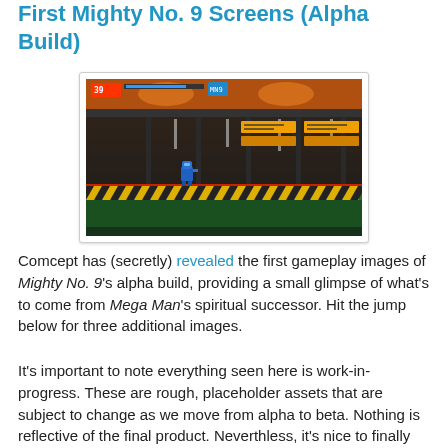First Mighty No. 9 Screens (Alpha Build)
[Figure (screenshot): Gameplay screenshot from Mighty No. 9 alpha build showing a side-scrolling platformer level with a dark industrial environment, orange ceiling lights, yellow warning stripes on platform edges, a blue character running, and a HUD at the top left with health bars.]
Comcept has (secretly) revealed the first gameplay images of Mighty No. 9's alpha build, providing a small glimpse of what's to come from Mega Man's spiritual successor. Hit the jump below for three additional images.
It's important to note everything seen here is work-in-progress. These are rough, placeholder assets that are subject to change as we move from alpha to beta. Nothing is reflective of the final product. Neverthless, it's nice to finally look at something that isn't a target render.